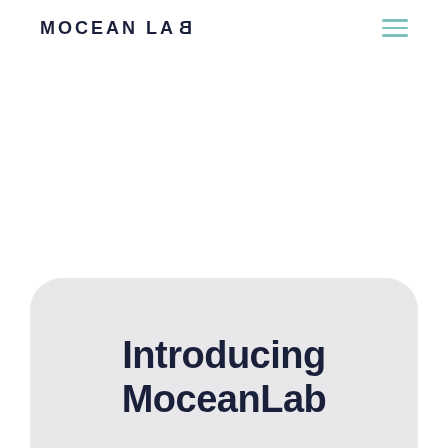MOCEAN LAB
Introducing MoceanLab